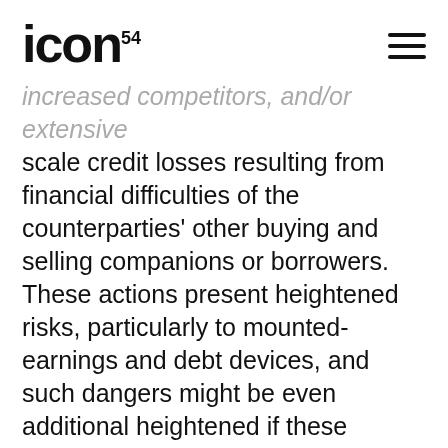ICON⁵⁴
increased competitors, and/or extensive scale credit losses resulting from financial difficulties of the counterparties' other buying and selling companions or borrowers. These actions present heightened risks, particularly to mounted-earnings and debt devices, and such dangers might be even additional heightened if these actions are unexpectedly or out of the blue discontinued, disrupted, reversed or are ineffective in attaining their desired outcomes or lead to increases in inflation. Along with the results on the Fund's investments in European issuers, the